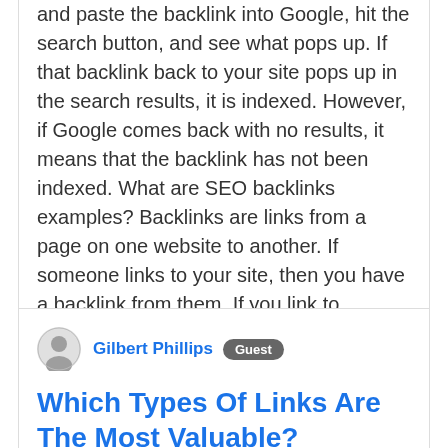and paste the backlink into Google, hit the search button, and see what pops up. If that backlink back to your site pops up in the search results, it is indexed. However, if Google comes back with no results, it means that the backlink has not been indexed. What are SEO backlinks examples? Backlinks are links from a page on one website to another. If someone links to your site, then you have a backlink from them. If you link to another website,…
Gilbert Phillips  Guest
Which Types Of Links Are The Most Valuable?
How many backlinks per day is safe? Building more than 10 backlinks per day is very good and useful for the website traffic.If